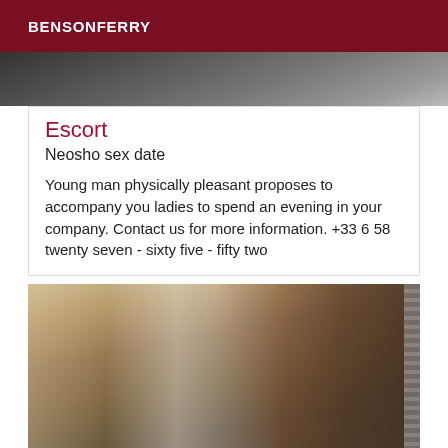BENSONFERRY
[Figure (photo): Partial black and white photo at top of page]
Escort
Neosho sex date
Young man physically pleasant proposes to accompany you ladies to spend an evening in your company. Contact us for more information. +33 6 58 twenty seven - sixty five - fifty two
[Figure (photo): Photo of a person near a window with curtains]